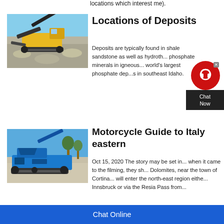locations which interest me).
[Figure (photo): Yellow mining excavator/crusher machine on a pile of gray gravel/rocks with blue sky background.]
Locations of Deposits
Deposits are typically found in shale sandstone as well as hydroth... phosphate minerals in igneous... world's largest phosphate dep...s in southeast Idaho.
[Figure (photo): Blue mobile crushing/screening machine on rocky ground with blue sky and sparse trees in background.]
Motorcycle Guide to Italy eastern
Oct 15, 2020 The story may be set in... when it came to the filming, they sh... Dolomites, near the town of Cortina... will enter the north-east region eithe... Innsbruck or via the Resia Pass from...
Chat Online